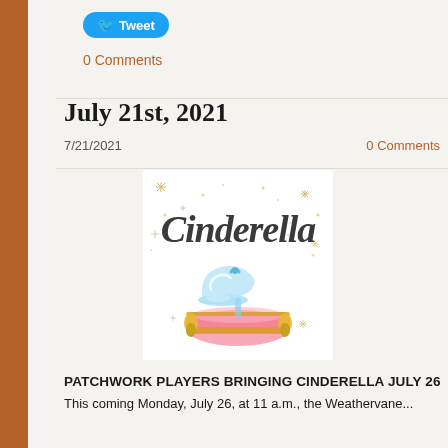[Figure (other): Twitter Tweet button with bird icon]
0 Comments
July 21st, 2021
7/21/2021
0 Comments
[Figure (illustration): Cinderella logo with script text 'Cinderella', sparkles, a glass slipper on a pink pillow with gold trim]
PATCHWORK PLAYERS BRINGING CINDERELLA JULY 26
This coming Monday, July 26, at 11 a.m., the Weathervane...